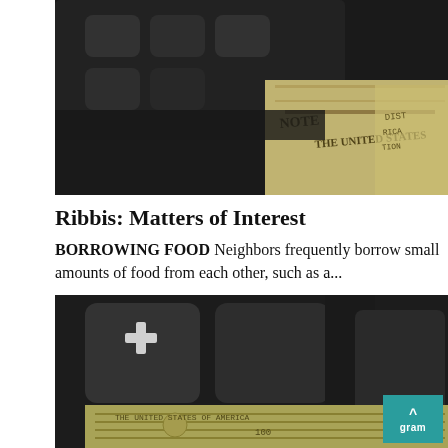[Figure (photo): Close-up photo of a dark calculator keyboard on top of US dollar bills, viewed from an angle]
Ribbis: Matters of Interest
BORROWING FOOD Neighbors frequently borrow small amounts of food from each other, such as a...
[Figure (photo): Close-up photo of a dark calculator showing plus key on top of US dollar bills, viewed from an angle]